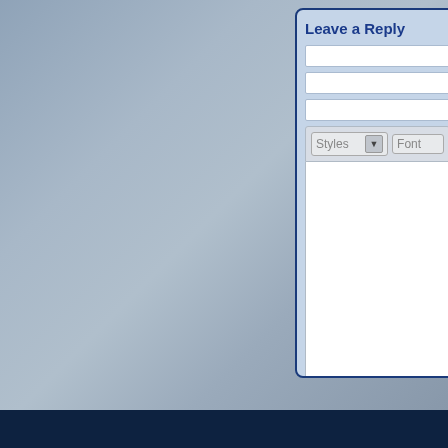Leave a Reply
[Figure (screenshot): A web form panel with 'Leave a Reply' heading, three text input fields, a rich text editor with Styles and Font dropdowns, a text area body, and a Submit Comment button. The panel has a light blue background with a dark blue border on a gray gradient background.]
This visual editor brought to
Submit Comment